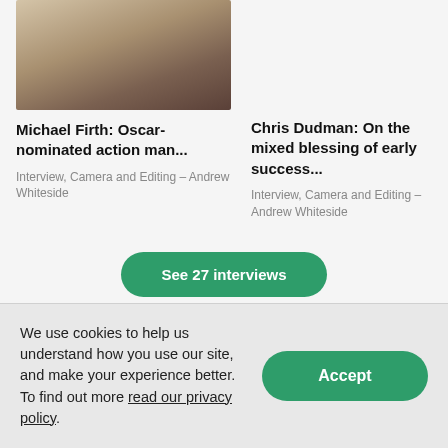[Figure (photo): Photo of Michael Firth, a man in a dark jacket, cropped at top]
Michael Firth: Oscar-nominated action man...
Interview, Camera and Editing – Andrew Whiteside
Chris Dudman: On the mixed blessing of early success...
Interview, Camera and Editing – Andrew Whiteside
See 27 interviews
We use cookies to help us understand how you use our site, and make your experience better. To find out more read our privacy policy.